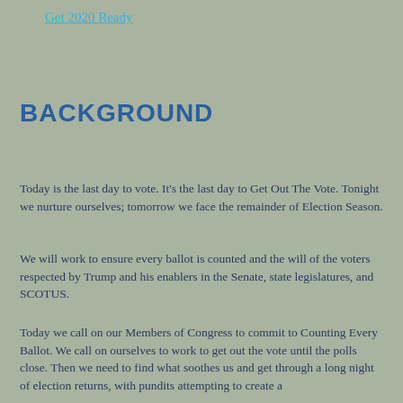Get 2020 Ready
BACKGROUND
Today is the last day to vote. It's the last day to Get Out The Vote. Tonight we nurture ourselves; tomorrow we face the remainder of Election Season.
We will work to ensure every ballot is counted and the will of the voters respected by Trump and his enablers in the Senate, state legislatures, and SCOTUS.
Today we call on our Members of Congress to commit to Counting Every Ballot. We call on ourselves to work to get out the vote until the polls close. Then we need to find what soothes us and get through a long night of election returns, with pundits attempting to create a narrative ahead of results to come, next day.